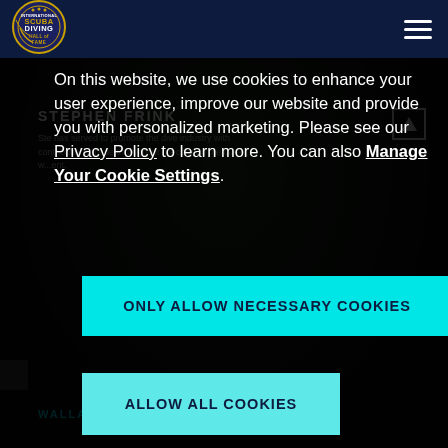[Figure (logo): International Scuba Diving Hall of Fame circular logo with gold and blue design]
STEPHEN FRINK
Ste has served to promote the dive industry with contributions made throughout his care on the GAP... w...ent.
On this website, we use cookies to enhance your user experience, improve our website and provide you with personalized marketing. Please see our Privacy Policy to learn more. You can also Manage Your Cookie Settings.
ONLY ALLOW NECESSARY COOKIES
ALLOW ALL COOKIES
WALLACE RIVERS